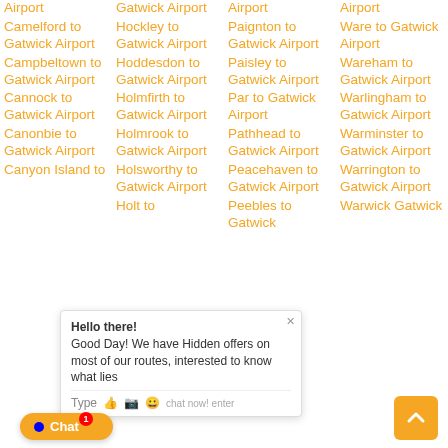Airport
Camelford to Gatwick Airport
Campbeltown to Gatwick Airport
Cannock to Gatwick Airport
Canonbie to Gatwick Airport
Canyon Island to
Gatwick Airport
Hockley to Gatwick Airport
Hoddesdon to Gatwick Airport
Holmfirth to Gatwick Airport
Holmrook to Gatwick Airport
Holsworthy to Gatwick Airport
Holt to
Airport
Paignton to Gatwick Airport
Paisley to Gatwick Airport
Par to Gatwick Airport
Pathhead to Gatwick Airport
Peacehaven to Gatwick Airport
Peebles to Gatwick
Airport
Ware to Gatwick Airport
Wareham to Gatwick Airport
Warlingham to Gatwick Airport
Warminster to Gatwick Airport
Warrington to Gatwick Airport
Warwick Gatwick